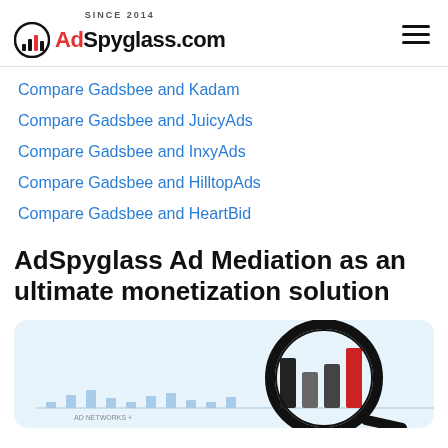SINCE 2014 AdSpyglass.com
Compare Gadsbee and Kadam
Compare Gadsbee and JuicyAds
Compare Gadsbee and InxyAds
Compare Gadsbee and HilltopAds
Compare Gadsbee and HeartBid
AdSpyglass Ad Mediation as an ultimate monetization solution
[Figure (illustration): Bar chart illustration with a magnifying glass highlighting bars (dark and red colored bars), labeled 'AD NETWORKS +' on x-axis and 'CPM' on y-axis, shown on a light blue rounded card background.]